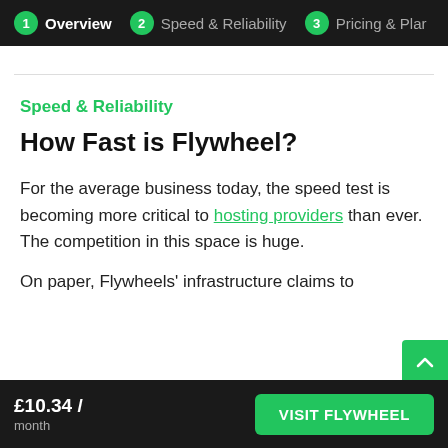1 Overview   2 Speed & Reliability   3 Pricing & Plan
Speed & Reliability
How Fast is Flywheel?
For the average business today, the speed test is becoming more critical to hosting providers than ever. The competition in this space is huge.
On paper, Flywheels' infrastructure claims to
£10.34 / month   VISIT FLYWHEEL